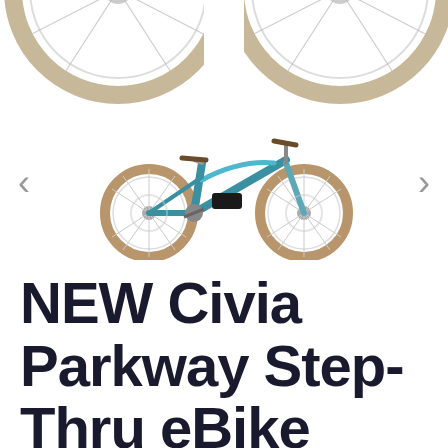[Figure (photo): Top portion of two bicycle wheels visible at the top of the page, cropped]
[Figure (photo): Full view of a teal/blue Civia Parkway Step-Thru eBike hybrid electric bicycle with brown saddle and grips, black battery on frame, disc brakes, shown in profile facing right. Navigation arrows (< >) on either side indicating a carousel.]
NEW Civia Parkway Step-Thru eBike Hybrid Electric Bike